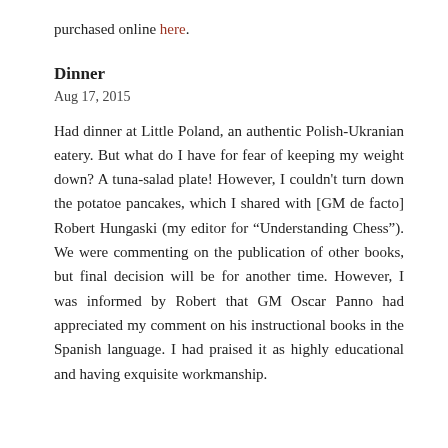purchased online here.
Dinner
Aug 17, 2015
Had dinner at Little Poland, an authentic Polish-Ukranian eatery. But what do I have for fear of keeping my weight down? A tuna-salad plate! However, I couldn't turn down the potatoe pancakes, which I shared with [GM de facto] Robert Hungaski (my editor for “Understanding Chess”). We were commenting on the publication of other books, but final decision will be for another time. However, I was informed by Robert that GM Oscar Panno had appreciated my comment on his instructional books in the Spanish language. I had praised it as highly educational and having exquisite workmanship.